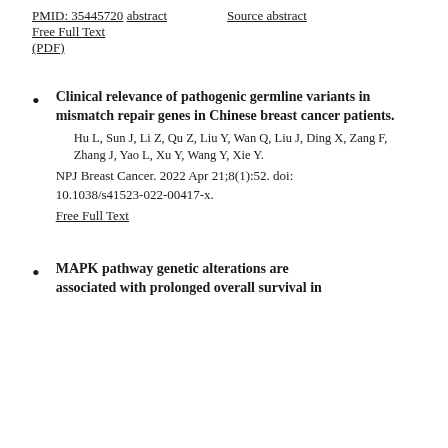PMID: 35445720  abstract   Source abstract
Free Full Text (PDF)
Clinical relevance of pathogenic germline variants in mismatch repair genes in Chinese breast cancer patients.
Hu L, Sun J, Li Z, Qu Z, Liu Y, Wan Q, Liu J, Ding X, Zang F, Zhang J, Yao L, Xu Y, Wang Y, Xie Y.
NPJ Breast Cancer. 2022 Apr 21;8(1):52. doi: 10.1038/s41523-022-00417-x.
Free Full Text
MAPK pathway genetic alterations are associated with prolonged overall survival in